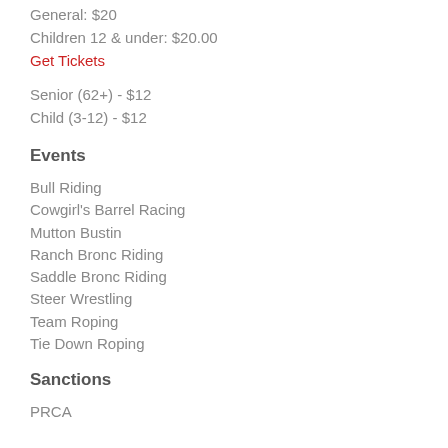General: $20
Children 12 & under: $20.00
Get Tickets
Senior (62+) - $12
Child (3-12) - $12
Events
Bull Riding
Cowgirl's Barrel Racing
Mutton Bustin
Ranch Bronc Riding
Saddle Bronc Riding
Steer Wrestling
Team Roping
Tie Down Roping
Sanctions
PRCA